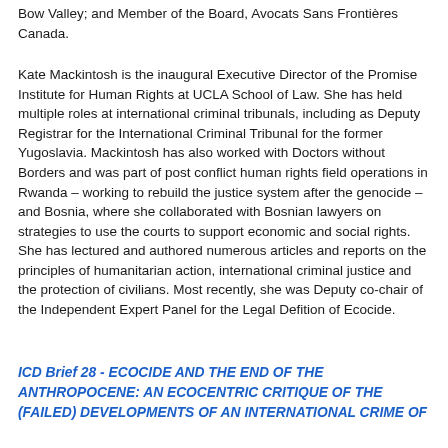Bow Valley; and Member of the Board, Avocats Sans Frontières Canada.
Kate Mackintosh is the inaugural Executive Director of the Promise Institute for Human Rights at UCLA School of Law. She has held multiple roles at international criminal tribunals, including as Deputy Registrar for the International Criminal Tribunal for the former Yugoslavia. Mackintosh has also worked with Doctors without Borders and was part of post conflict human rights field operations in Rwanda – working to rebuild the justice system after the genocide – and Bosnia, where she collaborated with Bosnian lawyers on strategies to use the courts to support economic and social rights. She has lectured and authored numerous articles and reports on the principles of humanitarian action, international criminal justice and the protection of civilians. Most recently, she was Deputy co-chair of the Independent Expert Panel for the Legal Defition of Ecocide.
ICD Brief 28 - ECOCIDE AND THE END OF THE ANTHROPOCENE: AN ECOCENTRIC CRITIQUE OF THE (FAILED) DEVELOPMENTS OF AN INTERNATIONAL CRIME OF